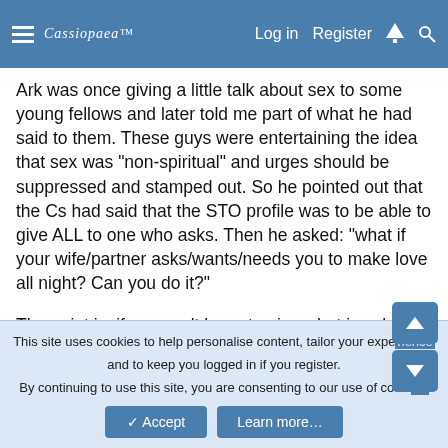Cassiopaea Log in Register
Ark was once giving a little talk about sex to some young fellows and later told me part of what he had said to them. These guys were entertaining the idea that sex was "non-spiritual" and urges should be suppressed and stamped out. So he pointed out that the Cs had said that the STO profile was to be able to give ALL to one who asks. Then he asked: "what if your wife/partner asks/wants/needs you to make love all night? Can you do it?"
The point is, if you can't learn to give what is asked to just one single person, how can you ever imagine to be practicing STO candidacy?
This site uses cookies to help personalise content, tailor your experience and to keep you logged in if you register. By continuing to use this site, you are consenting to our use of cookies